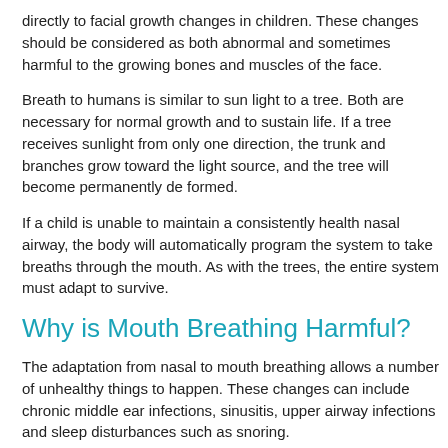directly to facial growth changes in children. These changes should be considered as both abnormal and sometimes harmful to the growing bones and muscles of the face.
Breath to humans is similar to sun light to a tree. Both are necessary for normal growth and to sustain life. If a tree receives sunlight from only one direction, the trunk and branches grow toward the light source, and the tree will become permanently de formed.
If a child is unable to maintain a consistently health nasal airway, the body will automatically program the system to take breaths through the mouth. As with the trees, the entire system must adapt to survive.
Why is Mouth Breathing Harmful?
The adaptation from nasal to mouth breathing allows a number of unhealthy things to happen. These changes can include chronic middle ear infections, sinusitis, upper airway infections and sleep disturbances such as snoring.
In addition, mouth breathing is often associated with a decrease in oxygen intake into the lungs which can lead to a lack of energy. Mouth breathing children may fatigue easily during exercise.
Mouth breathing can negatively affect the growing face. The...